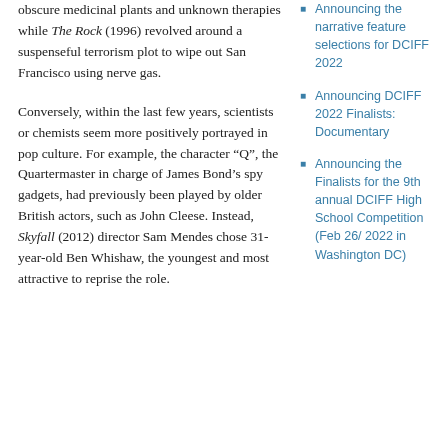obscure medicinal plants and unknown therapies while The Rock (1996) revolved around a suspenseful terrorism plot to wipe out San Francisco using nerve gas.
Conversely, within the last few years, scientists or chemists seem more positively portrayed in pop culture. For example, the character “Q”, the Quartermaster in charge of James Bond’s spy gadgets, had previously been played by older British actors, such as John Cleese. Instead, Skyfall (2012) director Sam Mendes chose 31-year-old Ben Whishaw, the youngest and most attractive to reprise the role.
Announcing the narrative feature selections for DCIFF 2022
Announcing DCIFF 2022 Finalists: Documentary
Announcing the Finalists for the 9th annual DCIFF High School Competition (Feb 26/ 2022 in Washington DC)